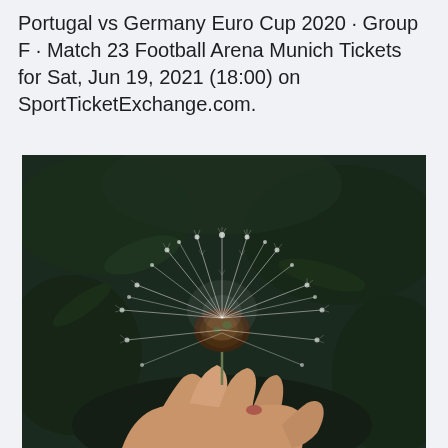Portugal vs Germany Euro Cup 2020 · Group F · Match 23 Football Arena Munich Tickets for Sat, Jun 19, 2021 (18:00) on SportTicketExchange.com.
[Figure (photo): A hand holding a dandelion seed head (blowball) against a dark green bokeh background. The white feathery seeds radiate outward from the brown center. The hand is visible from below, fingers grasping the stem.]